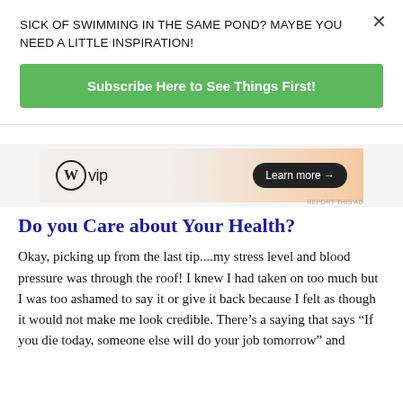SICK OF SWIMMING IN THE SAME POND? MAYBE YOU NEED A LITTLE INSPIRATION!
Subscribe Here to See Things First!
[Figure (other): WordPress VIP advertisement banner with gradient background, WordPress logo, 'vip' text, and 'Learn more →' button]
Do you Care about Your Health?
Okay, picking up from the last tip....my stress level and blood pressure was through the roof! I knew I had taken on too much but I was too ashamed to say it or give it back because I felt as though it would not make me look credible. There's a saying that says "If you die today, someone else will do your job tomorrow" and